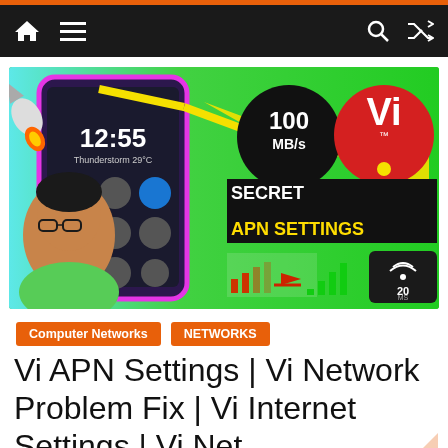Navigation bar with home, menu, search, shuffle icons
[Figure (screenshot): YouTube thumbnail showing a smartphone with quick settings panel, person with glasses, 100 MB/s speed, Vi logo, SECRET APN SETTINGS text, signal bars improving graphic, 20ms ping badge, on green background]
Computer Networks
NETWORKS
Vi APN Settings | Vi Network Problem Fix | Vi Internet Settings | Vi Net